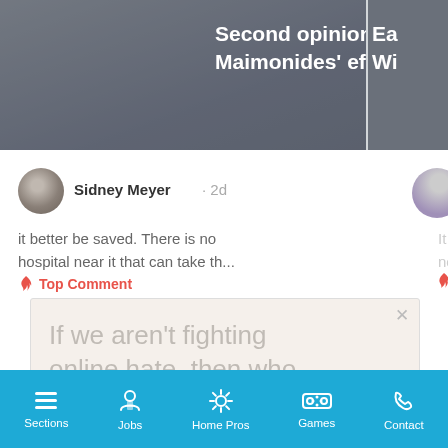[Figure (screenshot): Article card with headline 'Second opinions: Save Maimonides effort draws...' on grey background, partially cut off on right]
Sidney Meyer · 2d
it better be saved. There is no hospital near it that can take th...
🔥 Top Comment
[Figure (other): Loading spinner - grey circular arc indicating loading state]
[Figure (other): Advertisement box with text 'If we aren't fighting online hate, then who are the real trolls?']
Sections | Jobs | Home Pros | Games | Contact